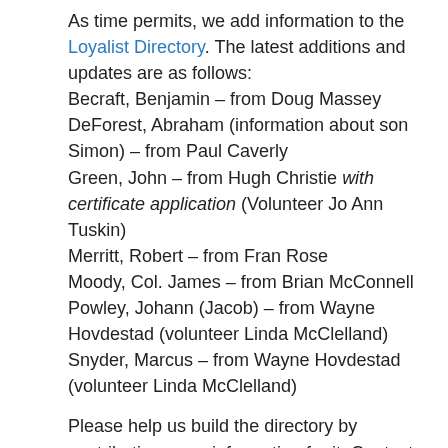As time permits, we add information to the Loyalist Directory. The latest additions and updates are as follows:
Becraft, Benjamin – from Doug Massey
DeForest, Abraham (information about son Simon) – from Paul Caverly
Green, John – from Hugh Christie with certificate application (Volunteer Jo Ann Tuskin)
Merritt, Robert – from Fran Rose
Moody, Col. James – from Brian McConnell
Powley, Johann (Jacob) – from Wayne Hovdestad (volunteer Linda McClelland)
Snyder, Marcus – from Wayne Hovdestad (volunteer Linda McClelland)
Please help us build the directory by contributing more information for it. Contact loyalist.trails@uelac.org for instructions and guidance.